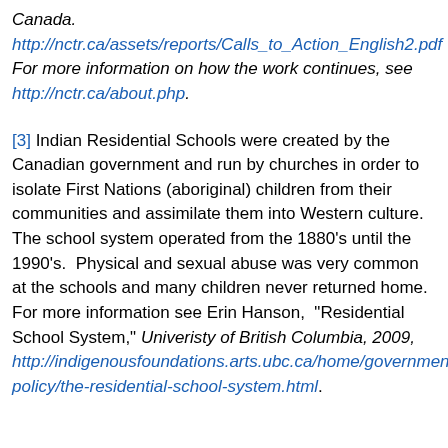Canada.
http://nctr.ca/assets/reports/Calls_to_Action_English2.pdf
For more information on how the work continues, see http://nctr.ca/about.php.
[3] Indian Residential Schools were created by the Canadian government and run by churches in order to isolate First Nations (aboriginal) children from their communities and assimilate them into Western culture. The school system operated from the 1880's until the 1990's.  Physical and sexual abuse was very common at the schools and many children never returned home. For more information see Erin Hanson,  "Residential School System," Univeristy of British Columbia, 2009, http://indigenousfoundations.arts.ubc.ca/home/government-policy/the-residential-school-system.html.